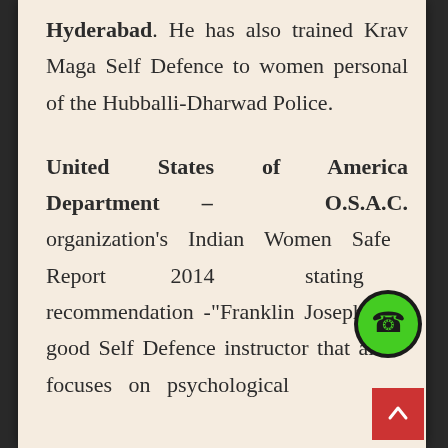Hyderabad. He has also trained Krav Maga Self Defence to women personal of the Hubballi-Dharwad Police.
United States of America Department – O.S.A.C. organization's Indian Women Safety Report 2014 stating recommendation -"Franklin Joseph is a good Self Defence instructor that also focuses on psychological